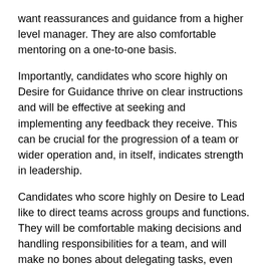want reassurances and guidance from a higher level manager. They are also comfortable mentoring on a one-to-one basis.
Importantly, candidates who score highly on Desire for Guidance thrive on clear instructions and will be effective at seeking and implementing any feedback they receive. This can be crucial for the progression of a team or wider operation and, in itself, indicates strength in leadership.
Candidates who score highly on Desire to Lead like to direct teams across groups and functions. They will be comfortable making decisions and handling responsibilities for a team, and will make no bones about delegating tasks, even within large groups and multifunctional working parties. These candidates will be seen as natural mentors. They may, however, find it difficult to report to a